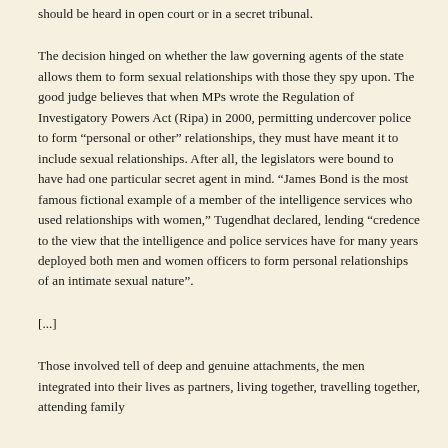should be heard in open court or in a secret tribunal.
The decision hinged on whether the law governing agents of the state allows them to form sexual relationships with those they spy upon. The good judge believes that when MPs wrote the Regulation of Investigatory Powers Act (Ripa) in 2000, permitting undercover police to form “personal or other” relationships, they must have meant it to include sexual relationships. After all, the legislators were bound to have had one particular secret agent in mind. “James Bond is the most famous fictional example of a member of the intelligence services who used relationships with women,” Tugendhat declared, lending “credence to the view that the intelligence and police services have for many years deployed both men and women officers to form personal relationships of an intimate sexual nature”.
[...]
Those involved tell of deep and genuine attachments, the men integrated into their lives as partners, living together, travelling together, attending family